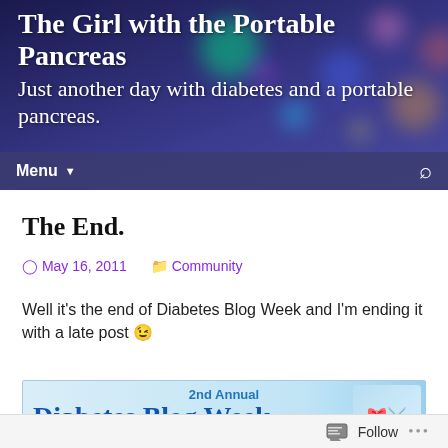The Girl with the Portable Pancreas
Just another day with diabetes and a portable pancreas.
The End.
May 16, 2011   Community
Well it's the end of Diabetes Blog Week and I'm ending it with a late post 😉
[Figure (photo): 2nd Annual Diabetes Blog Week banner image with illustrated characters]
Follow ...